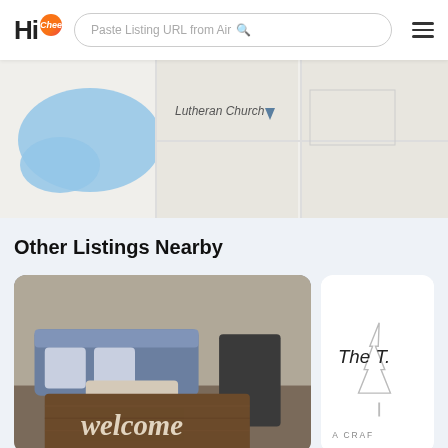[Figure (screenshot): HiChee app header with logo, search bar labeled 'Paste Listing URL from Air' with magnifier icon, and hamburger menu icon]
[Figure (map): Partial map view showing a street grid with 'Lutheran Church' label and a blue water/lake shape on the left]
Other Listings Nearby
[Figure (photo): Living room interior with blue sofa and a wooden 'welcome' sign in the foreground]
[Figure (logo): Partial logo showing 'The T...' text with a pine tree illustration and text 'A CRAF' at the bottom]